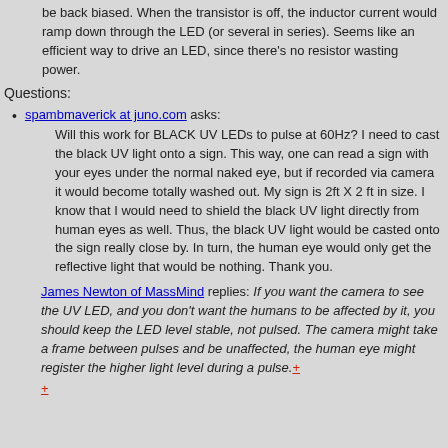be back biased. When the transistor is off, the inductor current would ramp down through the LED (or several in series). Seems like an efficient way to drive an LED, since there's no resistor wasting power.
Questions:
spambmaverick at juno.com asks:
Will this work for BLACK UV LEDs to pulse at 60Hz? I need to cast the black UV light onto a sign. This way, one can read a sign with your eyes under the normal naked eye, but if recorded via camera it would become totally washed out. My sign is 2ft X 2 ft in size. I know that I would need to shield the black UV light directly from human eyes as well. Thus, the black UV light would be casted onto the sign really close by. In turn, the human eye would only get the reflective light that would be nothing. Thank you.
James Newton of MassMind replies: If you want the camera to see the UV LED, and you don't want the humans to be affected by it, you should keep the LED level stable, not pulsed. The camera might take a frame between pulses and be unaffected, the human eye might register the higher light level during a pulse.+
+